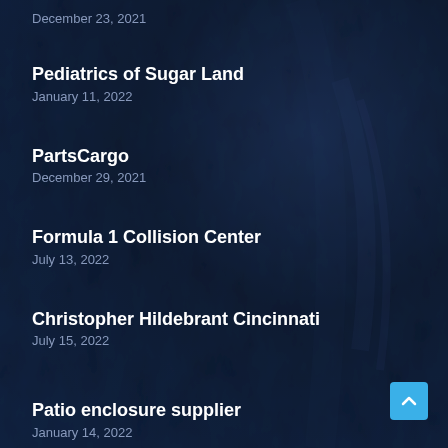December 23, 2021
Pediatrics of Sugar Land
January 11, 2022
PartsCargo
December 29, 2021
Formula 1 Collision Center
July 13, 2022
Christopher Hildebrant Cincinnati
July 15, 2022
Patio enclosure supplier
January 14, 2022